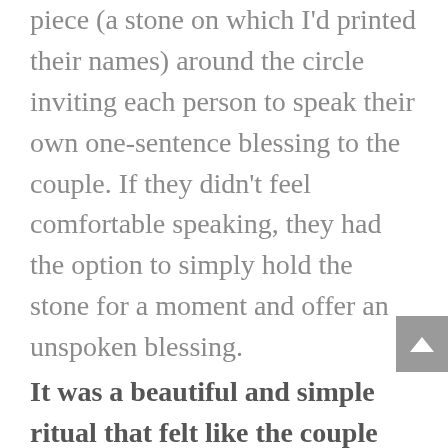piece (a stone on which I'd printed their names) around the circle inviting each person to speak their own one-sentence blessing to the couple. If they didn't feel comfortable speaking, they had the option to simply hold the stone for a moment and offer an unspoken blessing.
It was a beautiful and simple ritual that felt like the couple was being held in a giant container of love by their community.